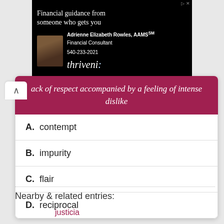[Figure (other): Advertisement banner for Thrivent Financial featuring Adrienne Elizabeth Rowles, AAMS, Financial Consultant, phone 540-233-2021, with Thrivent logo]
ack of respect accompanied by a feeling of intense dislike
A. contempt
B. impurity
C. flair
D. reciprocal
Nearby & related entries:
justicia